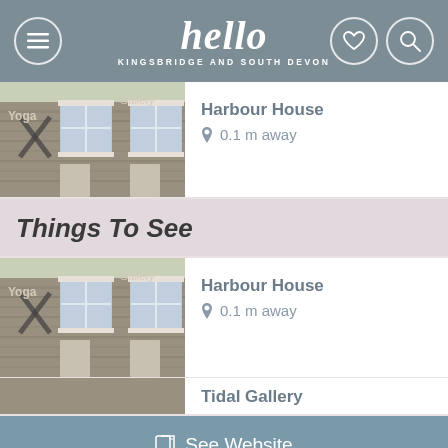[Figure (screenshot): App header with hamburger menu icon, 'hello KINGSBRIDGE AND SOUTH DEVON' logo, heart icon, and search icon on grey background]
[Figure (photo): Harbour House building photo showing stone facade with Yoga, Arts, Gallery signage and white sash windows]
Harbour House
0.1 m away
Things To See
[Figure (photo): Harbour House building photo showing stone facade with Yoga, Arts, Gallery signage and white sash windows]
Harbour House
0.1 m away
Tidal Gallery
See Website